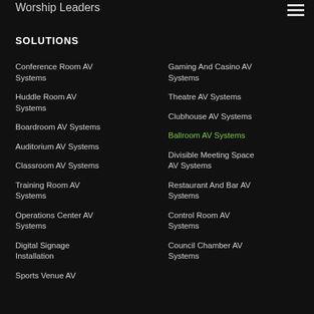Worship Leaders
SOLUTIONS
Conference Room AV Systems
Huddle Room AV Systems
Boardroom AV Systems
Auditorium AV Systems
Classroom AV Systems
Training Room AV Systems
Operations Center AV Systems
Digital Signage Installation
Sports Venue AV
Gaming And Casino AV Systems
Theatre AV Systems
Clubhouse AV Systems
Ballroom AV Systems
Divisible Meeting Space AV Systems
Restaurant And Bar AV Systems
Control Room AV Systems
Council Chamber AV Systems